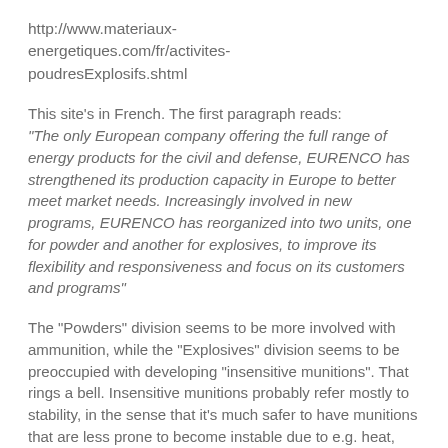http://www.materiaux-energetiques.com/fr/activites-poudresExplosifs.shtml
This site’s in French. The first paragraph reads: “The only European company offering the full range of energy products for the civil and defense, EURENCO has strengthened its production capacity in Europe to better meet market needs. Increasingly involved in new programs, EURENCO has reorganized into two units, one for powder and another for explosives, to improve its flexibility and responsiveness and focus on its customers and programs”
The “Powders” division seems to be more involved with ammunition, while the “Explosives” division seems to be preoccupied with developing “insensitive munitions”. That rings a bell. Insensitive munitions probably refer mostly to stability, in the sense that it’s much safer to have munitions that are less prone to become instable due to e.g. heat, shock